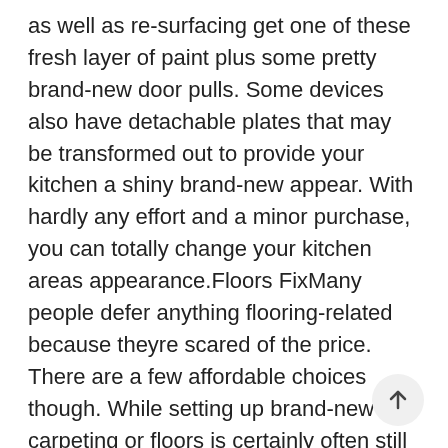as well as re-surfacing get one of these fresh layer of paint plus some pretty brand-new door pulls. Some devices also have detachable plates that may be transformed out to provide your kitchen a shiny brand-new appear. With hardly any effort and a minor purchase, you can totally change your kitchen areas appearance.Floors FixMany people defer anything flooring-related because theyre scared of the price. There are a few affordable choices though. While setting up brand-new carpeting or floors is certainly often still left to professionals, you can find kits available which make it possible for the uninitiated to set up brand-new flooring over a preexisting covering. This enables you to sp a minimal quantity for components, while
[Figure (other): A circular scroll-to-top button with an upward arrow icon, positioned at the bottom right of the page.]